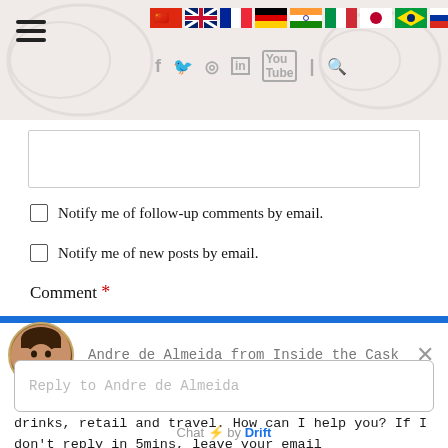[Figure (screenshot): Website header with flag icons for multiple countries (China, UK, France, Germany, India, Italy, Japan, Brazil, Russia, Spain) and social media icons (Facebook, Twitter, Instagram, LinkedIn, YouTube, Search). Hamburger menu icon on the left.]
[Figure (screenshot): Text input box (empty comment field)]
Notify me of follow-up comments by email.
Notify me of new posts by email.
Comment *
[Figure (screenshot): Chat widget from Drift showing avatar of Andre de Almeida with message: Hi! This is Inside the Cask and we are all about drinks, retail and travel. How can I help you? If I don't reply in 5mins, leave your email. Reply input field at bottom with placeholder 'Reply to Andre de Almeida'. Footer says 'Chat ⚡ by Drift'.]